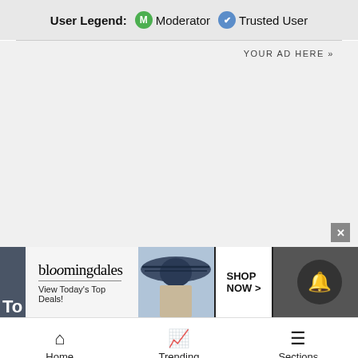User Legend: M Moderator (checkmark) Trusted User
YOUR AD HERE »
[Figure (infographic): Bloomingdale's advertisement banner: logo, 'View Today's Top Deals!', woman in hat, SHOP NOW > button]
Home  Trending  Sections